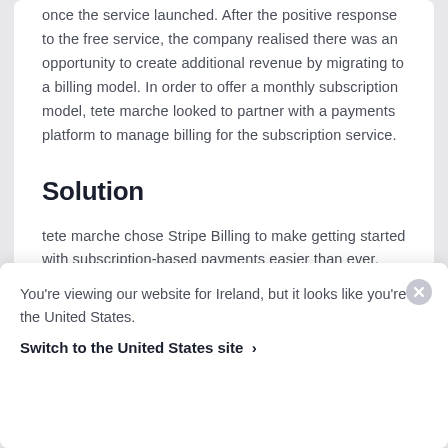once the service launched. After the positive response to the free service, the company realised there was an opportunity to create additional revenue by migrating to a billing model. In order to offer a monthly subscription model, tete marche looked to partner with a payments platform to manage billing for the subscription service.
Solution
tete marche chose Stripe Billing to make getting started with subscription-based payments easier than ever. Stripe Billing automatically processes everything
You're viewing our website for Ireland, but it looks like you're in the United States.
Switch to the United States site ›